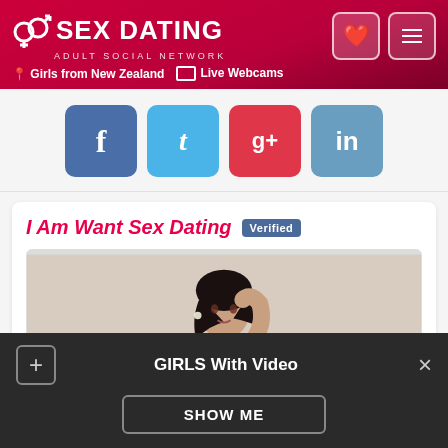SEX DATING ADULT SOCIAL NETWORK | Girls from New Zealand | Live Webcams
[Figure (screenshot): Social sharing buttons: Facebook (f), Twitter (t), Google+ (g+), LinkedIn (in)]
I Am Want Sex Dating Verified
[Figure (photo): Profile photo of a young woman with dark hair, wearing fishnet stockings and a dark outfit, posed against a light background]
GIRLS With Video
SHOW ME